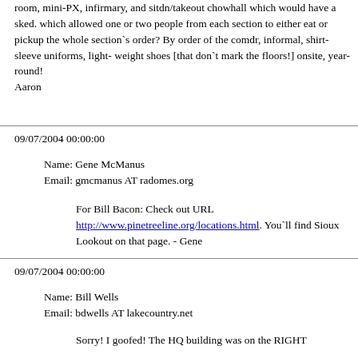room, mini-PX, infirmary, and sitdn/takeout chowhall which would have a sked. which allowed one or two people from each section to either eat or pickup the whole section`s order? By order of the comdr, informal, shirt-sleeve uniforms, light- weight shoes [that don`t mark the floors!] onsite, year-round! Aaron
09/07/2004 00:00:00
Name: Gene McManus
Email: gmcmanus AT radomes.org
For Bill Bacon: Check out URL http://www.pinetreeline.org/locations.html. You`ll find Sioux Lookout on that page. - Gene
09/07/2004 00:00:00
Name: Bill Wells
Email: bdwells AT lakecountry.net
Sorry! I goofed! The HQ building was on the RIGHT